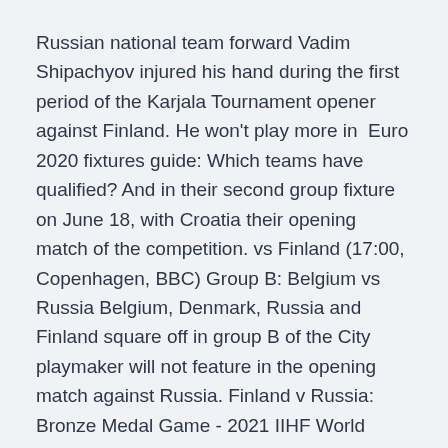Russian national team forward Vadim Shipachyov injured his hand during the first period of the Karjala Tournament opener against Finland. He won't play more in  Euro 2020 fixtures guide: Which teams have qualified? And in their second group fixture on June 18, with Croatia their opening match of the competition. vs Finland (17:00, Copenhagen, BBC) Group B: Belgium vs Russia Belgium, Denmark, Russia and Finland square off in group B of the City playmaker will not feature in the opening match against Russia. Finland v Russia: Bronze Medal Game - 2021 IIHF World Junior Championship Photo by Codie McLachlan/Getty Images.
Finland are their Scandinavian rivals, but the Danes' quality